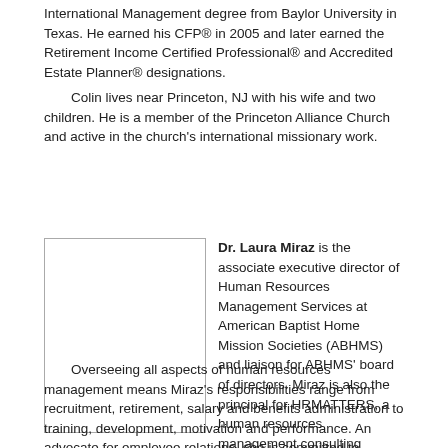International Management degree from Baylor University in Texas. He earned his CFP® in 2005 and later earned the Retirement Income Certified Professional® and Accredited Estate Planner® designations.
Colin lives near Princeton, NJ with his wife and two children. He is a member of the Princeton Alliance Church and active in the church's international missionary work.
[Figure (photo): Placeholder photo box for Dr. Laura Miraz, shown as an empty rectangle with a border]
Dr. Laura Miraz is the associate executive director of Human Resources Management Services at American Baptist Home Mission Societies (ABHMS) and liaison for ABHMS' board of directors. Miraz is also the principal for HRMATTERS, a human resources management consulting service for American Baptist national and regional partners. Miraz seeks to ensure a highly-skilled, committed, engaged professional workforce that embraces and exemplifies mission, vision and core values.
Overseeing all aspects of human resources management means Miraz's responsibilities range from recruitment, retirement, salary and benefits administration to training, development, motivation and performance. An advocate for employee relations, she is committed to providing a "listening